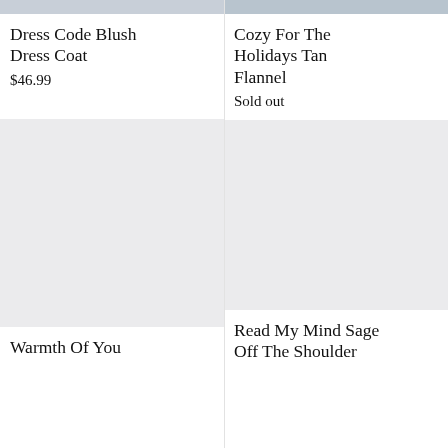[Figure (photo): Partial view of blush dress coat product image (top portion cut off), light grey placeholder]
Dress Code Blush Dress Coat
$46.99
[Figure (photo): Partial view of tan flannel product image (top portion cut off), light blue-grey tones]
Cozy For The Holidays Tan Flannel
Sold out
[Figure (photo): Light grey placeholder image for Warmth Of You product]
Warmth Of You
[Figure (photo): Light grey placeholder image for Read My Mind Sage Off The Shoulder product]
Read My Mind Sage Off The Shoulder